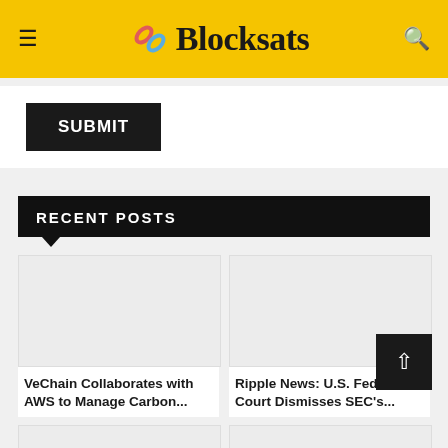Blocksats
SUBMIT
RECENT POSTS
[Figure (screenshot): Placeholder image for VeChain article]
VeChain Collaborates with AWS to Manage Carbon...
[Figure (screenshot): Placeholder image for Ripple News article]
Ripple News: U.S. Federal Court Dismisses SEC's...
[Figure (screenshot): Partial placeholder images bottom row left]
[Figure (screenshot): Partial placeholder images bottom row right]